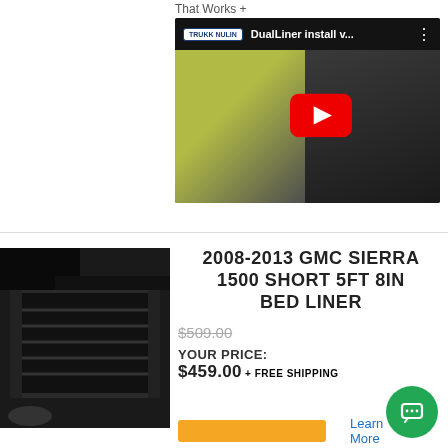That Works +
[Figure (screenshot): YouTube video thumbnail showing 'DualLiner install v...' with a person in a yellow-green jacket installing a truck bed liner, with a red YouTube play button overlay]
Learn More
[Figure (photo): Black and white photo of a truck bed liner installed in a pickup truck bed]
2008-2013 GMC SIERRA 1500 SHORT 5FT 8IN BED LINER
$509.00
YOUR PRICE: $459.00 + FREE SHIPPING